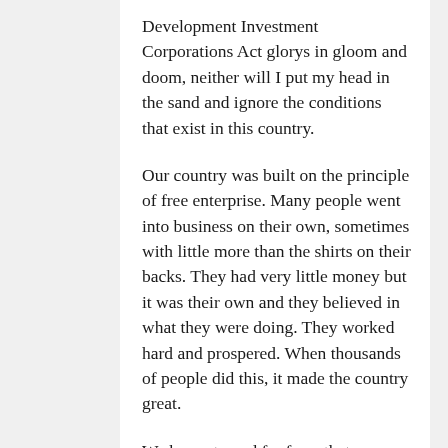Development Investment Corporations Act glorys in gloom and doom, neither will I put my head in the sand and ignore the conditions that exist in this country.
Our country was built on the principle of free enterprise. Many people went into business on their own, sometimes with little more than the shirts on their backs. They had very little money but it was their own and they believed in what they were doing. They worked hard and prospered. When thousands of people did this, it made the country great.
We have strayed far from that